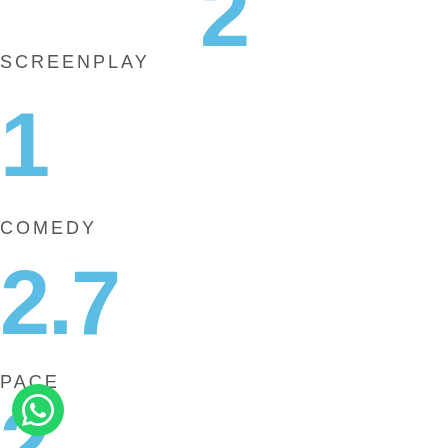2
SCREENPLAY
1
COMEDY
2.7
PACE
2
[Figure (logo): WhatsApp green circular icon in bottom-left corner]